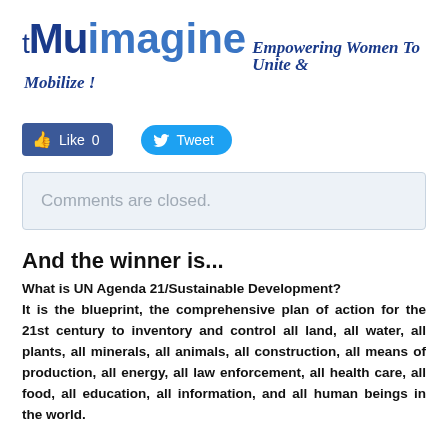tMuimagine Empowering Women To Unite & Mobilize !
[Figure (other): Facebook Like button (Like 0) and Twitter Tweet button]
Comments are closed.
And the winner is...
What is UN Agenda 21/Sustainable Development? It is the blueprint, the comprehensive plan of action for the 21st century to inventory and control all land, all water, all plants, all minerals, all animals, all construction, all means of production, all energy, all law enforcement, all health care, all food, all education, all information, and all human beings in the world.